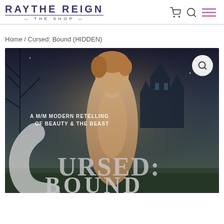RAYTHE REIGN THE SHOP
Home / Cursed: Bound (HIDDEN)
[Figure (illustration): Book cover for 'Cursed: Bound' — a M/M modern retelling of Beauty & The Beast. Features a shirtless blonde man in the foreground with a dark fantasy castle in the background. Large stylized text reads 'CURSED: BOUND'.]